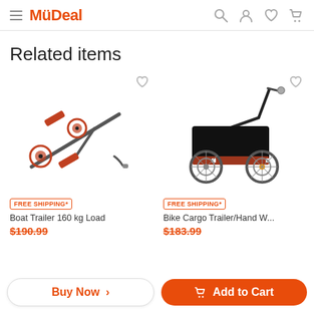MyDeal
Related items
[Figure (photo): Boat trailer with red handles and small wheels, dark metal frame, angled view]
FREE SHIPPING*
Boat Trailer 160 kg Load
$190.99
[Figure (photo): Bike cargo trailer / hand wagon, black box with black wheels and attachment arm]
FREE SHIPPING*
Bike Cargo Trailer/Hand W...
$183.99
Buy Now >
Add to Cart